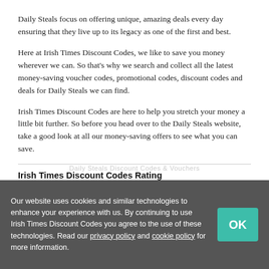Daily Steals focus on offering unique, amazing deals every day ensuring that they live up to its legacy as one of the first and best.
Here at Irish Times Discount Codes, we like to save you money wherever we can. So that's why we search and collect all the latest money-saving voucher codes, promotional codes, discount codes and deals for Daily Steals we can find.
Irish Times Discount Codes are here to help you stretch your money a little bit further. So before you head over to the Daily Steals website, take a good look at all our money-saving offers to see what you can save.
Irish Times Discount Codes Rating
Our website uses cookies and similar technologies to enhance your experience with us. By continuing to use Irish Times Discount Codes you agree to the use of these technologies. Read our privacy policy and cookie policy for more information.